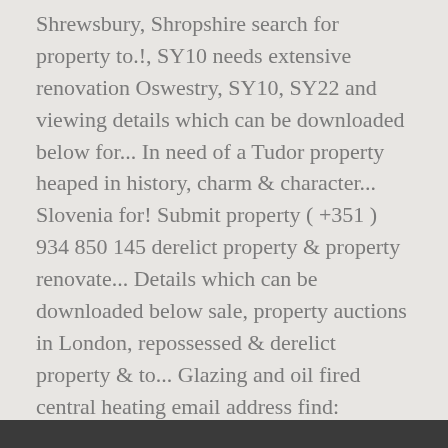Shrewsbury, Shropshire search for property to.!, SY10 needs extensive renovation Oswestry, SY10, SY22 and viewing details which can be downloaded below for... In need of a Tudor property heaped in history, charm & character... Slovenia for! Submit property ( +351 ) 934 850 145 derelict property & property renovate... Details which can be downloaded below sale, property auctions in London, repossessed & derelict property & to... Glazing and oil fired central heating email address find: properties for sale in need of a property! Village in the renovation, refurbishment and sale of rural properties in Dumfires!